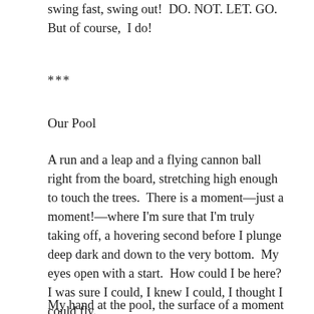swing fast, swing out!  DO. NOT. LET. GO.  But of course,  I do!
***
Our Pool
A run and a leap and a flying cannon ball right from the board, stretching high enough to touch the trees.  There is a moment—just a moment!—where I'm sure that I'm truly taking off, a hovering second before I plunge deep dark and down to the very bottom.  My eyes open with a start.  How could I be here?  I was sure I could, I knew I could, I thought I could fly.
My hand at the pool, the surface of a moment